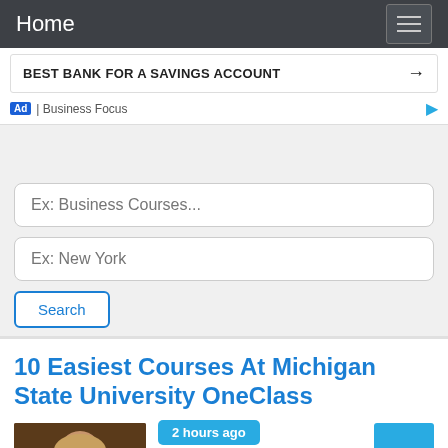Home
BEST BANK FOR A SAVINGS ACCOUNT →
Ad | Business Focus
Ex: Business Courses...
Ex: New York
Search
10 Easiest Courses At Michigan State University OneClass
2 hours ago